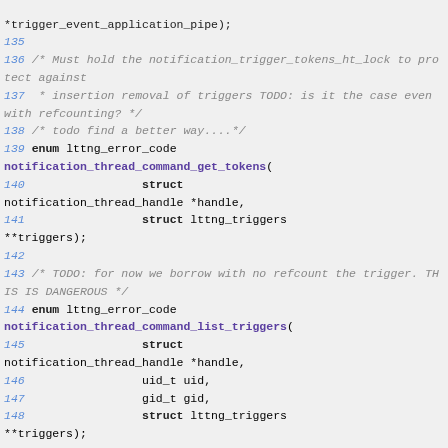Code listing showing C function declarations with line numbers 135-148, including notification_thread_command_get_tokens and notification_thread_command_list_triggers functions, with comments about trigger protection and refcounting.